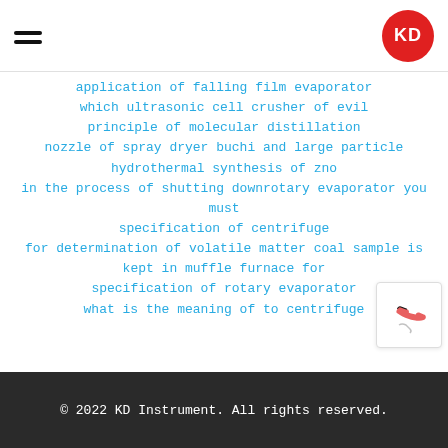KD Instrument logo and navigation
application of falling film evaporator
which ultrasonic cell crusher of evil
principle of molecular distillation
nozzle of spray dryer buchi and large particle
hydrothermal synthesis of zno
in the process of shutting downrotary evaporator you must
specification of centrifuge
for determination of volatile matter coal sample is kept in muffle furnace for
specification of rotary evaporator
what is the meaning of to centrifuge
© 2022 KD Instrument. All rights reserved.